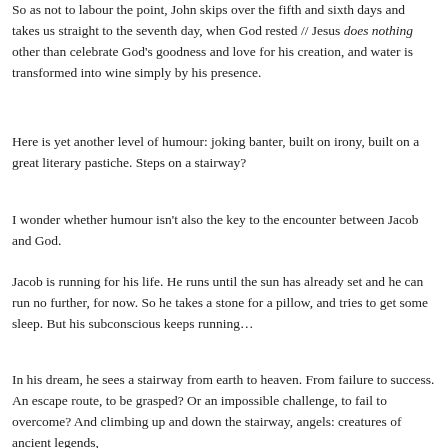So as not to labour the point, John skips over the fifth and sixth days and takes us straight to the seventh day, when God rested // Jesus does nothing other than celebrate God's goodness and love for his creation, and water is transformed into wine simply by his presence.
Here is yet another level of humour: joking banter, built on irony, built on a great literary pastiche. Steps on a stairway?
I wonder whether humour isn't also the key to the encounter between Jacob and God.
Jacob is running for his life. He runs until the sun has already set and he can run no further, for now. So he takes a stone for a pillow, and tries to get some sleep. But his subconscious keeps running…
In his dream, he sees a stairway from earth to heaven. From failure to success. An escape route, to be grasped? Or an impossible challenge, to fail to overcome? And climbing up and down the stairway, angels: creatures of ancient legends, from the forests. The players of God's interstellar drama.